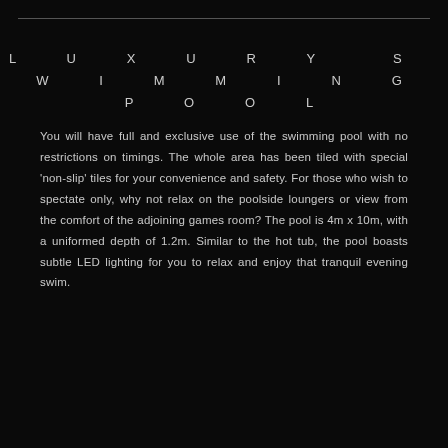LUXURY SWIMMING POOL
You will have full and exclusive use of the swimming pool with no restrictions on timings. The whole area has been tiled with special 'non-slip' tiles for your convenience and safety. For those who wish to spectate only, why not relax on the poolside loungers or view from the comfort of the adjoining games room? The pool is 4m x 10m, with a uniformed depth of 1.2m. Similar to the hot tub, the pool boasts subtle LED lighting for you to relax and enjoy that tranquil evening swim.